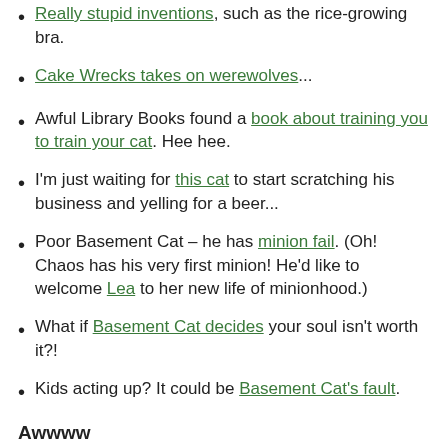Really stupid inventions, such as the rice-growing bra.
Cake Wrecks takes on werewolves...
Awful Library Books found a book about training you to train your cat. Hee hee.
I'm just waiting for this cat to start scratching his business and yelling for a beer...
Poor Basement Cat – he has minion fail. (Oh! Chaos has his very first minion! He'd like to welcome Lea to her new life of minionhood.)
What if Basement Cat decides your soul isn't worth it?!
Kids acting up? It could be Basement Cat's fault.
Awwww